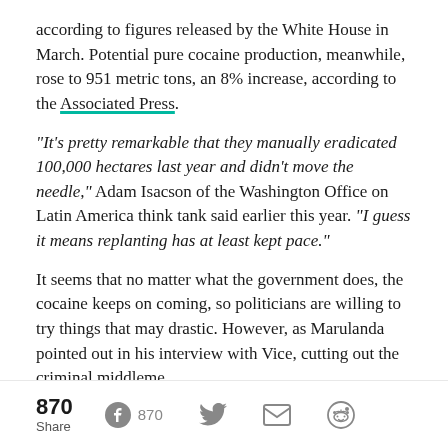according to figures released by the White House in March. Potential pure cocaine production, meanwhile, rose to 951 metric tons, an 8% increase, according to the Associated Press.
“It’s pretty remarkable that they manually eradicated 100,000 hectares last year and didn’t move the needle,” Adam Isacson of the Washington Office on Latin America think tank said earlier this year. “I guess it means replanting has at least kept pace.”
It seems that no matter what the government does, the cocaine keeps on coming, so politicians are willing to try things that may drastic. However, as Marulanda pointed out in his interview with Vice, cutting out the criminal middleme
870 Share  870